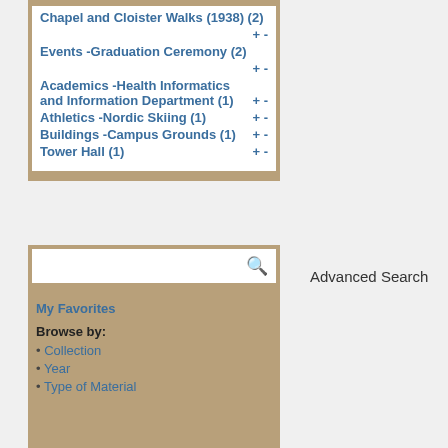Chapel and Cloister Walks (1938) (2)
Events -Graduation Ceremony (2)
Academics -Health Informatics and Information Department (1)
Athletics -Nordic Skiing (1)
Buildings -Campus Grounds (1)
Tower Hall (1)
My Favorites
Browse by:
Collection
Year
Type of Material
Advanced Search